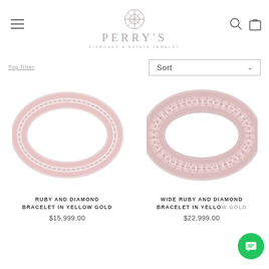PERRY'S DIAMONDS & ESTATE JEWELRY
Top filter   Sort
[Figure (photo): Ruby and diamond bracelet in yellow gold - pink/rose colored gemstone bracelet, oval shape]
RUBY AND DIAMOND BRACELET IN YELLOW GOLD
$15,999.00
[Figure (photo): Wide ruby and diamond bracelet in yellow gold - wider pink/rose colored gemstone bracelet, oval shape]
WIDE RUBY AND DIAMOND BRACELET IN YELLOW GOLD
$22,999.00